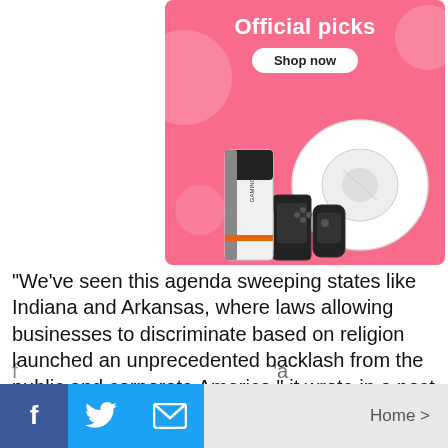[Figure (infographic): Advertisement banner with pink background showing 'Official picks' text, 'Shop now' button, and product images including a robot vacuum, gaming console, and gaming controller]
“We’ve seen this agenda sweeping states like Indiana and Arkansas, where laws allowing businesses to discriminate based on religion launched an unprecedented backlash from the public and corporate America,” it wrote in a post last month. “[T]he effort to block this
personal beliefs.